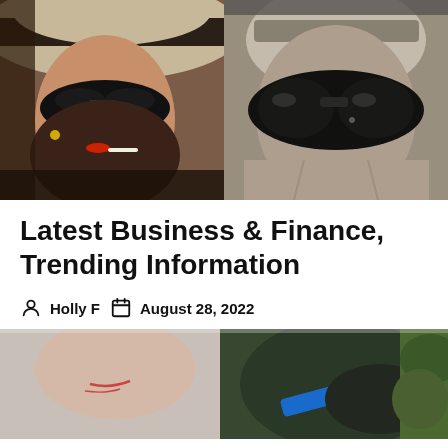[Figure (photo): Two side-by-side photos: left shows a woman in profile wearing a wide-brim hat and dark sunglasses; right shows a person wearing large dark sunglasses.]
Latest Business & Finance, Trending Information
Holly F   August 28, 2022
[Figure (photo): Partial photo at bottom showing two people, one with a blue strap visible.]